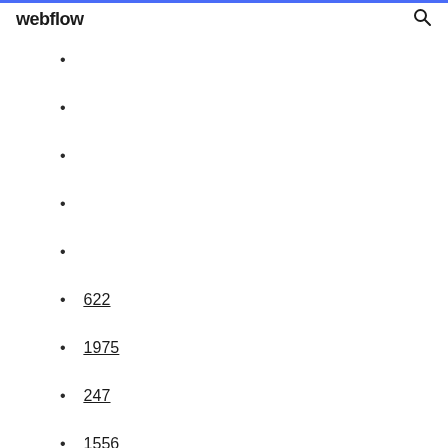webflow
622
1975
247
1556
719
957
1124
1580